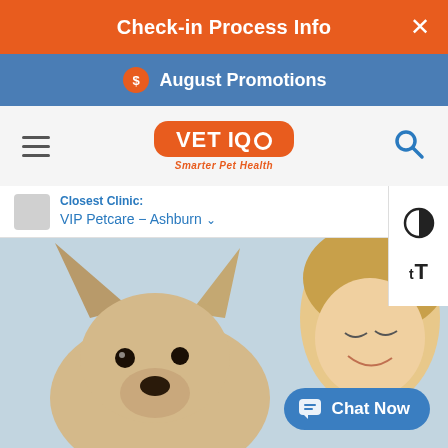Check-in Process Info
August Promotions
[Figure (logo): VET IQ Smarter Pet Health logo — orange rounded rectangle with white VET IQ text and blue Smarter Pet Health tagline]
Closest Clinic:
VIP Petcare – Ashburn
[Figure (photo): A young blonde woman smiling at a cream/tan dog with large upright ears, against a light blue-grey background]
Chat Now